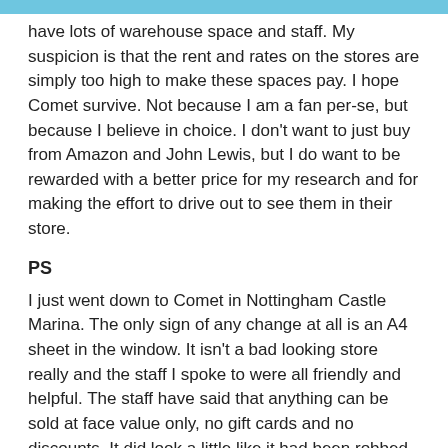have lots of warehouse space and staff. My suspicion is that the rent and rates on the stores are simply too high to make these spaces pay. I hope Comet survive. Not because I am a fan per-se, but because I believe in choice. I don't want to just buy from Amazon and John Lewis, but I do want to be rewarded with a better price for my research and for making the effort to drive out to see them in their store.
PS
I just went down to Comet in Nottingham Castle Marina. The only sign of any change at all is an A4 sheet in the window. It isn't a bad looking store really and the staff I spoke to were all friendly and helpful. The staff have said that anything can be sold at face value only, no gift cards and no discounts. It did look a little like it had been robbed as there were lots of gaps in the stock (particularly in the upstairs bit!). Expect a fire sale soon.